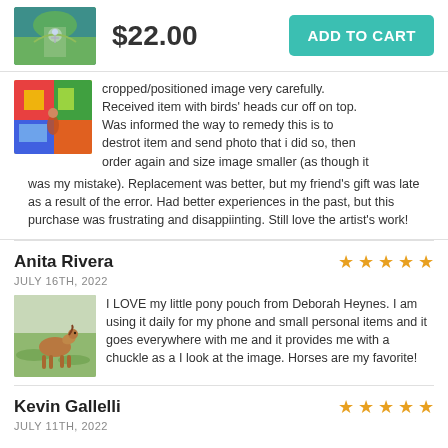[Figure (photo): Product image of a pouch/bag with scenic aerial photo, shown in top bar]
$22.00
ADD TO CART
cropped/positioned image very carefully. Received item with birds' heads cur off on top. Was informed the way to remedy this is to destrot item and send photo that i did so, then order again and size image smaller (as though it was my mistake). Replacement was better, but my friend's gift was late as a result of the error. Had better experiences in the past, but this purchase was frustrating and disappiinting. Still love the artist's work!
Anita Rivera
JULY 16TH, 2022
[Figure (photo): Product image showing a horse/pony in a field on a pouch]
I LOVE my little pony pouch from Deborah Heynes. I am using it daily for my phone and small personal items and it goes everywhere with me and it provides me with a chuckle as a I look at the image. Horses are my favorite!
Kevin Gallelli
JULY 11TH, 2022